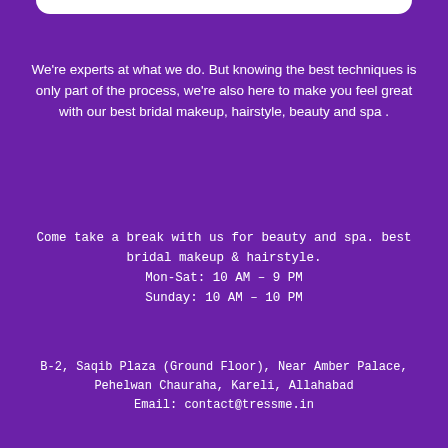We're experts at what we do. But knowing the best techniques is only part of the process, we're also here to make you feel great with our best bridal makeup, hairstyle, beauty and spa .
Come take a break with us for beauty and spa. best bridal makeup & hairstyle.
Mon-Sat: 10 AM – 9 PM
Sunday: 10 AM – 10 PM
B-2, Saqib Plaza (Ground Floor), Near Amber Palace, Pehelwan Chauraha, Kareli, Allahabad
Email: contact@tressme.in